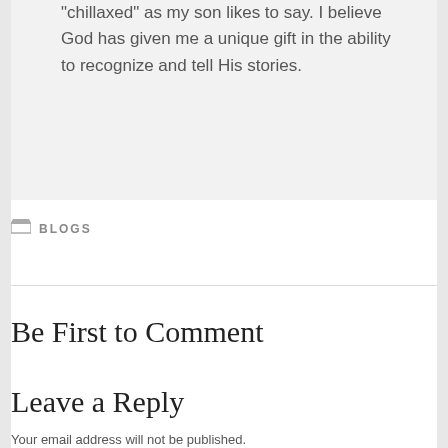"chillaxed" as my son likes to say. I believe God has given me a unique gift in the ability to recognize and tell His stories.
BLOGS
Be First to Comment
Leave a Reply
Your email address will not be published.